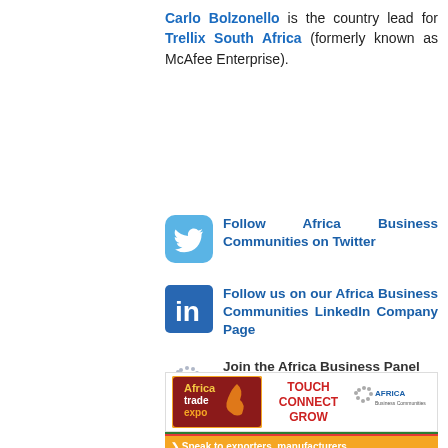Carlo Bolzonello is the country lead for Trellix South Africa (formerly known as McAfee Enterprise).
[Figure (logo): Twitter bird logo icon in blue rounded square]
Follow Africa Business Communities on Twitter
[Figure (logo): LinkedIn 'in' logo icon in blue square]
Follow us on our Africa Business Communities LinkedIn Company Page
[Figure (logo): Africa Business Communities dot/map icon]
Join the Africa Business Panel
[Figure (infographic): Africa Trade Expo banner with logo, TOUCH CONNECT GROW tagline, and Africa Business Communities logo, with colored stripe bar below and 'Speak to exporters manufacturers' text]